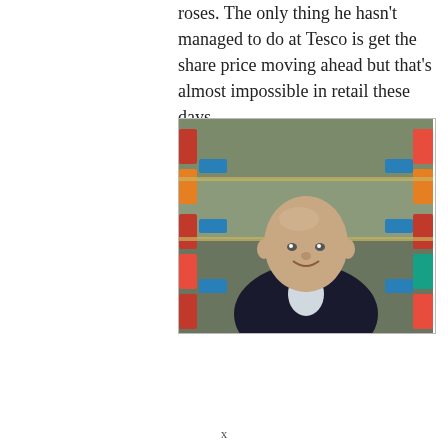roses. The only thing he hasn't managed to do at Tesco is get the share price moving ahead but that's almost impossible in retail these days.
[Figure (photo): Portrait photo of a bald man in a dark suit standing in front of supermarket shelves stocked with colourful products.]
Fending off Aldi and Lidl (to a degree) and cleaning up Tesco's sometimes brutal act are fair achievements.
Lewis says: “I believe that the tenure of the chief executive should be a finite one and that now is the right time to pass the baton.
x